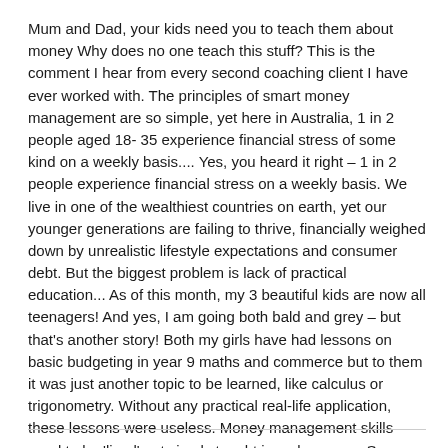Mum and Dad, your kids need you to teach them about money Why does no one teach this stuff? This is the comment I hear from every second coaching client I have ever worked with. The principles of smart money management are so simple, yet here in Australia, 1 in 2 people aged 18- 35 experience financial stress of some kind on a weekly basis.... Yes, you heard it right – 1 in 2 people experience financial stress on a weekly basis. We live in one of the wealthiest countries on earth, yet our younger generations are failing to thrive, financially weighed down by unrealistic lifestyle expectations and consumer debt. But the biggest problem is lack of practical education... As of this month, my 3 beautiful kids are now all teenagers! And yes, I am going both bald and grey – but that's another story! Both my girls have had lessons on basic budgeting in year 9 maths and commerce but to them it was just another topic to be learned, like calculus or trigonometry. Without any practical real-life application, these lessons were useless. Money management skills need to be 'lived' not simply taught in a classroom. So, parents, like ...